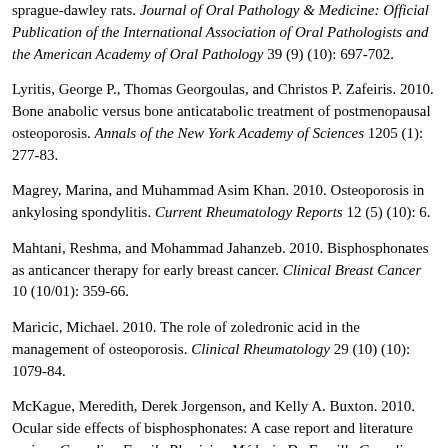sprague-dawley rats. Journal of Oral Pathology & Medicine: Official Publication of the International Association of Oral Pathologists and the American Academy of Oral Pathology 39 (9) (10): 697-702.
Lyritis, George P., Thomas Georgoulas, and Christos P. Zafeiris. 2010. Bone anabolic versus bone anticatabolic treatment of postmenopausal osteoporosis. Annals of the New York Academy of Sciences 1205 (1): 277-83.
Magrey, Marina, and Muhammad Asim Khan. 2010. Osteoporosis in ankylosing spondylitis. Current Rheumatology Reports 12 (5) (10): 6.
Mahtani, Reshma, and Mohammad Jahanzeb. 2010. Bisphosphonates as anticancer therapy for early breast cancer. Clinical Breast Cancer 10 (10/01): 359-66.
Maricic, Michael. 2010. The role of zoledronic acid in the management of osteoporosis. Clinical Rheumatology 29 (10) (10): 1079-84.
McKague, Meredith, Derek Jorgenson, and Kelly A. Buxton. 2010. Ocular side effects of bisphosphonates: A case report and literature review. Canadian Family Physician Médecin De Famille Canadien (10) (10): 1015-7.
Mehanna, P., and R. Goddard. 2010. Bisphosphonate associated